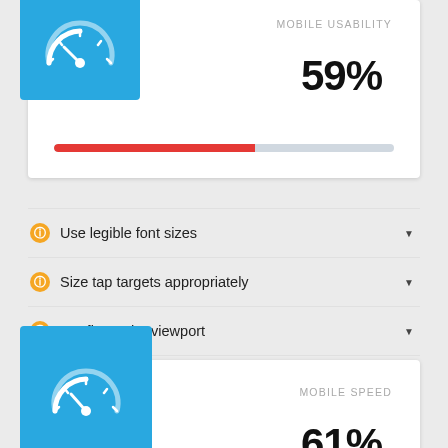[Figure (infographic): Mobile Usability score card with speedometer icon, showing 59% with a red/grey progress bar]
Use legible font sizes
Size tap targets appropriately
Configure the viewport
Size content to viewport
[Figure (infographic): Mobile Speed score card with speedometer icon, showing 61%]